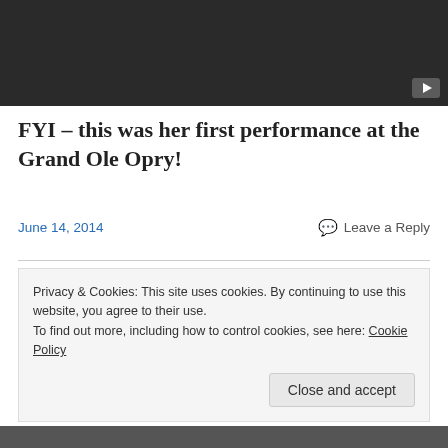[Figure (screenshot): Dark video player area with a YouTube play button in the bottom-right corner]
FYI – this was her first performance at the Grand Ole Opry!
June 14, 2014   💬 Leave a Reply
Privacy & Cookies: This site uses cookies. By continuing to use this website, you agree to their use.
To find out more, including how to control cookies, see here: Cookie Policy
Close and accept